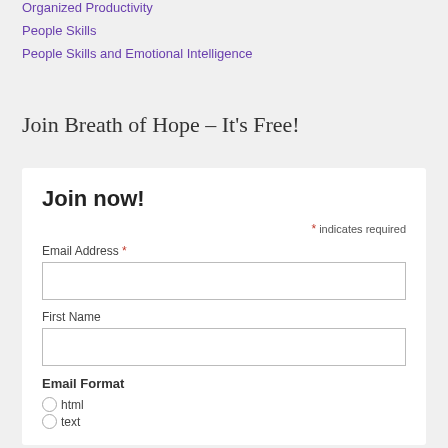Organized Productivity
People Skills
People Skills and Emotional Intelligence
Join Breath of Hope – It's Free!
Join now!
* indicates required
Email Address *
First Name
Email Format
html
text